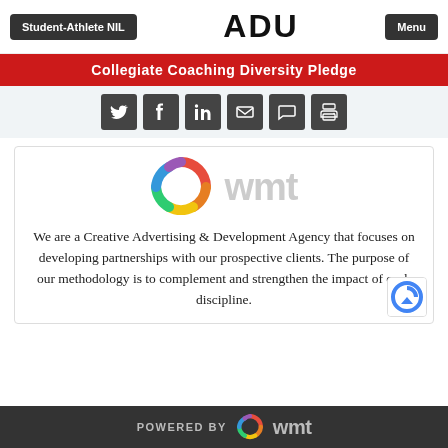Student-Athlete NIL | ADU | Menu
Collegiate Coaching Diversity Pledge
[Figure (infographic): Social media sharing icons: Twitter, Facebook, LinkedIn, Email, Comment, Print]
[Figure (logo): WMT colorful ring logo with 'wmt' text in grey]
We are a Creative Advertising & Development Agency that focuses on developing partnerships with our prospective clients. The purpose of our methodology is to complement and strengthen the impact of each discipline.
POWERED BY wmt